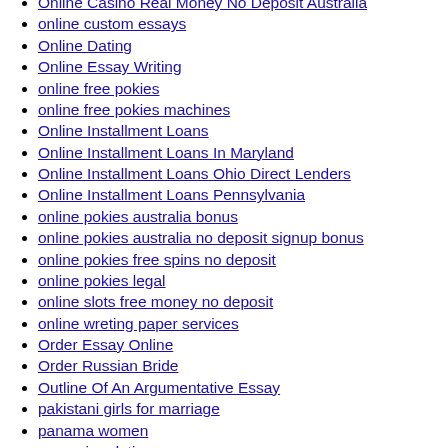Online Casino Real Money No Deposit Australia
online custom essays
Online Dating
Online Essay Writing
online free pokies
online free pokies machines
Online Installment Loans
Online Installment Loans In Maryland
Online Installment Loans Ohio Direct Lenders
Online Installment Loans Pennsylvania
online pokies australia bonus
online pokies australia no deposit signup bonus
online pokies free spins no deposit
online pokies legal
online slots free money no deposit
online wreting paper services
Order Essay Online
Order Russian Bride
Outline Of An Argumentative Essay
pakistani girls for marriage
panama women
panamian dating
Paper To Write On
Paper Writer
paper writers
Paper Writing